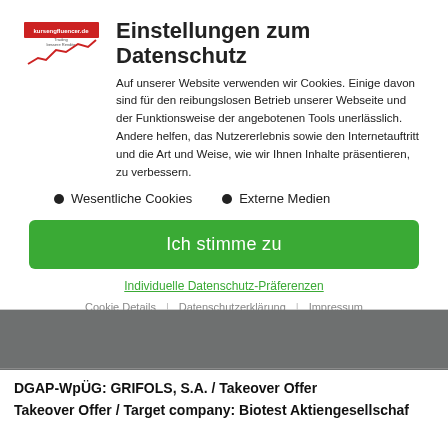[Figure (logo): kursengfluencer.de logo with red text and chart line graphic]
Einstellungen zum Datenschutz
Auf unserer Website verwenden wir Cookies. Einige davon sind für den reibungslosen Betrieb unserer Webseite und der Funktionsweise der angebotenen Tools unerlässlich. Andere helfen, das Nutzererlebnis sowie den Internetauftritt und die Art und Weise, wie wir Ihnen Inhalte präsentieren, zu verbessern.
Wesentliche Cookies
Externe Medien
Ich stimme zu
Individuelle Datenschutz-Präferenzen
Cookie Details | Datenschutzerklärung | Impressum
DGAP-WpÜG: GRIFOLS, S.A. / Takeover Offer
Takeover Offer / Target company: Biotest Aktiengesellschaf